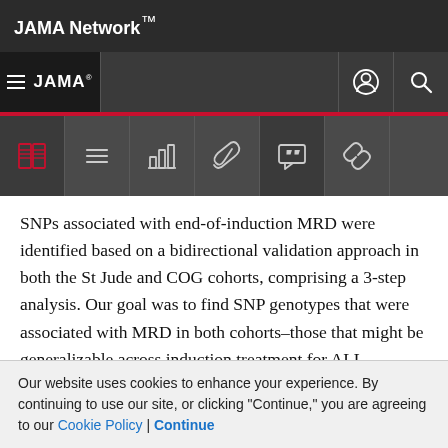JAMA Network
JAMA
SNPs associated with end-of-induction MRD were identified based on a bidirectional validation approach in both the St Jude and COG cohorts, comprising a 3-step analysis. Our goal was to find SNP genotypes that were associated with MRD in both cohorts–those that might be generalizable across induction treatment for ALL.
In step 1, we computed the statistical significance for each
Our website uses cookies to enhance your experience. By continuing to use our site, or clicking "Continue," you are agreeing to our Cookie Policy | Continue